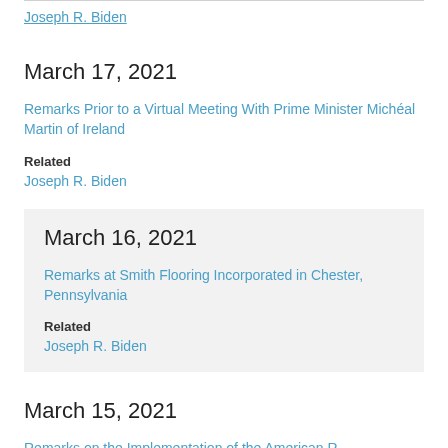Joseph R. Biden
March 17, 2021
Remarks Prior to a Virtual Meeting With Prime Minister Michéal Martin of Ireland
Related
Joseph R. Biden
March 16, 2021
Remarks at Smith Flooring Incorporated in Chester, Pennsylvania
Related
Joseph R. Biden
March 15, 2021
Remarks on the Implementation of the American R...